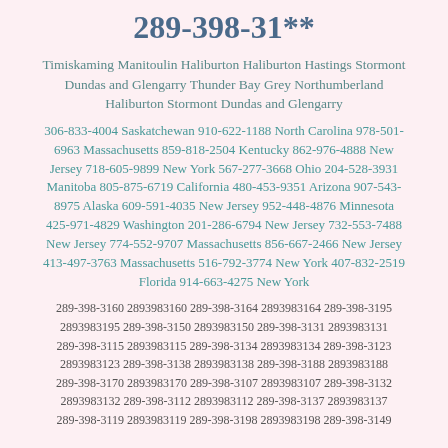289-398-31**
Timiskaming Manitoulin Haliburton Haliburton Hastings Stormont Dundas and Glengarry Thunder Bay Grey Northumberland Haliburton Stormont Dundas and Glengarry
306-833-4004 Saskatchewan 910-622-1188 North Carolina 978-501-6963 Massachusetts 859-818-2504 Kentucky 862-976-4888 New Jersey 718-605-9899 New York 567-277-3668 Ohio 204-528-3931 Manitoba 805-875-6719 California 480-453-9351 Arizona 907-543-8975 Alaska 609-591-4035 New Jersey 952-448-4876 Minnesota 425-971-4829 Washington 201-286-6794 New Jersey 732-553-7488 New Jersey 774-552-9707 Massachusetts 856-667-2466 New Jersey 413-497-3763 Massachusetts 516-792-3774 New York 407-832-2519 Florida 914-663-4275 New York
289-398-3160 2893983160 289-398-3164 2893983164 289-398-3195 2893983195 289-398-3150 2893983150 289-398-3131 2893983131 289-398-3115 2893983115 289-398-3134 2893983134 289-398-3123 2893983123 289-398-3138 2893983138 289-398-3188 2893983188 289-398-3170 2893983170 289-398-3107 2893983107 289-398-3132 2893983132 289-398-3112 2893983112 289-398-3137 2893983137 289-398-3119 2893983119 289-398-3198 2893983198 289-398-3149